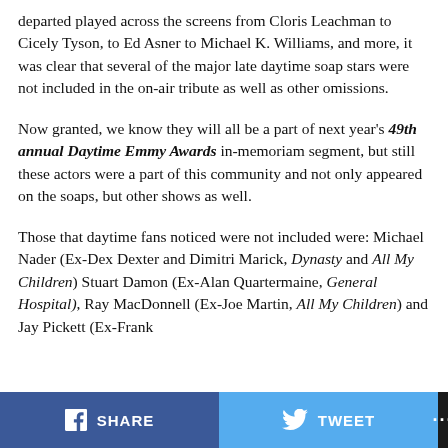departed played across the screens from Cloris Leachman to Cicely Tyson, to Ed Asner to Michael K. Williams, and more, it was clear that several of the major late daytime soap stars were not included in the on-air tribute as well as other omissions.
Now granted, we know they will all be a part of next year's 49th annual Daytime Emmy Awards in-memoriam segment, but still these actors were a part of this community and not only appeared on the soaps, but other shows as well.
Those that daytime fans noticed were not included were: Michael Nader (Ex-Dex Dexter and Dimitri Marick, Dynasty and All My Children) Stuart Damon (Ex-Alan Quartermaine, General Hospital), Ray MacDonnell (Ex-Joe Martin, All My Children) and Jay Pickett (Ex-Frank
SHARE   TWEET   ...